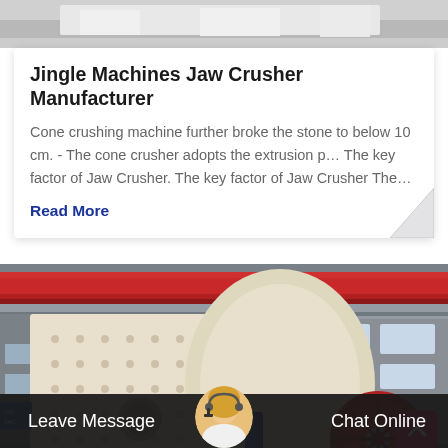[Figure (photo): Partial top image of industrial machine, cropped at top of page]
Jingle Machines Jaw Crusher Manufacturer
Cone crushing machine further broke the stone to below 10 cm. - The cone crusher adopts the extrusion p… The key factor of Jaw Crusher. The key factor of Jaw Crusher The…
Read More
[Figure (photo): Large industrial jaw crusher machine inside a factory warehouse with red overhead crane, cream-colored machine body with bolted panels, blue cylinder, red flywheel visible]
Leave Message
Chat Online